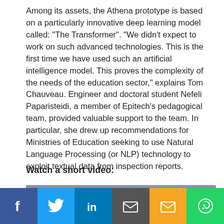Among its assets, the Athena prototype is based on a particularly innovative deep learning model called: "The Transformer". "We didn't expect to work on such advanced technologies. This is the first time we have used such an artificial intelligence model. This proves the complexity of the needs of the education sector," explains Tom Chauveau. Engineer and doctoral student Nefeli Paparisteidi, a member of Epitech's pedagogical team, provided valuable support to the team. In particular, she drew up recommendations for Ministries of Education seeking to use Natural Language Processing (or NLP) technology to exploit textual data from inspection reports.
Watch a short video:
[Figure (screenshot): YouTube video thumbnail showing a person's circular avatar photo on a dark grey gradient background, with title text 'Athena UNESCO HackingEd Plan...' and a vertical dots menu icon on the right.]